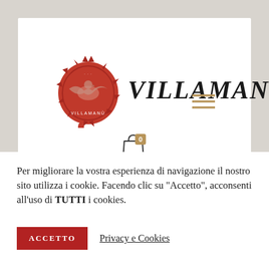[Figure (logo): Villamanò brand logo: red wax seal with bird/eagle emblem on left, 'VILLAMANÒ' text in large serif italic font, gold hamburger menu icon on right]
[Figure (other): Shopping cart icon with '0' badge in gold/tan color]
Per migliorare la vostra esperienza di navigazione il nostro sito utilizza i cookie. Facendo clic su "Accetto", acconsenti all'uso di TUTTI i cookies.
ACCETTO   Privacy e Cookies